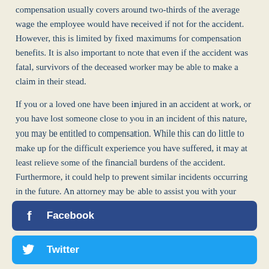compensation usually covers around two-thirds of the average wage the employee would have received if not for the accident. However, this is limited by fixed maximums for compensation benefits. It is also important to note that even if the accident was fatal, survivors of the deceased worker may be able to make a claim in their stead.
If you or a loved one have been injured in an accident at work, or you have lost someone close to you in an incident of this nature, you may be entitled to compensation. While this can do little to make up for the difficult experience you have suffered, it may at least relieve some of the financial burdens of the accident. Furthermore, it could help to prevent similar incidents occurring in the future. An attorney may be able to assist you with your claim and guide you through the process of building your case.
[Figure (other): Facebook social share button with Facebook 'f' icon and label 'Facebook']
[Figure (other): Twitter social share button with Twitter bird icon and label 'Twitter']